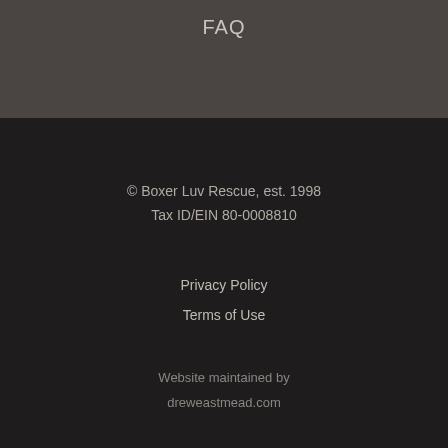FAQ
© Boxer Luv Rescue, est. 1998
Tax ID/EIN 80-0008810
Privacy Policy
Terms of Use
Website maintained by
dreweastmead.com